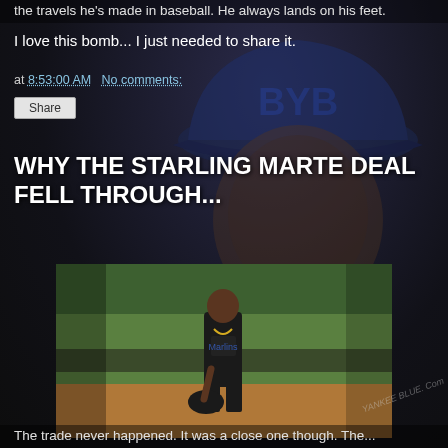the travels he's made in baseball. He always lands on his feet.
I love this bomb... I just needed to share it.
at 8:53:00 AM   No comments:
Share
WHY THE STARLING MARTE DEAL FELL THROUGH...
[Figure (photo): Baseball player in black uniform holding a batting helmet, standing on a baseball field]
The trade never happened. It was a close one though. The...